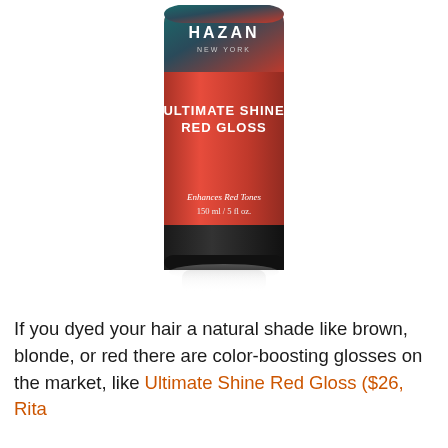[Figure (photo): Product photo of Hazan New York Ultimate Shine Red Gloss hair product bottle. The bottle is cylindrical with a black cap at the bottom, a red body, and a dark teal/black top. Label text reads: HAZAN NEW YORK, ULTIMATE SHINE RED GLOSS, Enhances Red Tones, 150 ml / 5 fl oz. A reflection is visible beneath the bottle.]
If you dyed your hair a natural shade like brown, blonde, or red there are color-boosting glosses on the market, like Ultimate Shine Red Gloss ($26, Rita